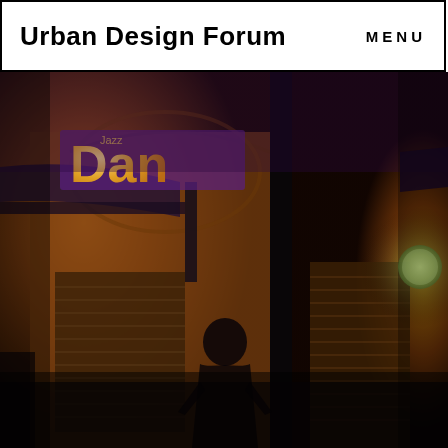Urban Design Forum   MENU
[Figure (photo): Night street scene showing a storefront with illuminated 'Dan' signage (partially visible), warm orange/yellow lighting on building facade, a blurred pedestrian figure in the center, a dark vertical pole/column in the middle, and a second similar 'D' storefront sign visible on the right with a green globe light. Scene is dark and atmospheric.]